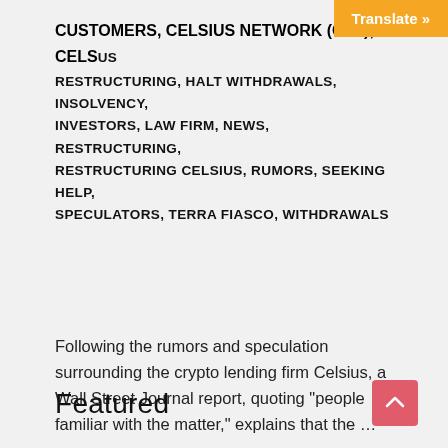CUSTOMERS, CELSIUS NETWORK (CEL), CELSIUS RESTRUCTURING, HALT WITHDRAWALS, INSOLVENCY, INVESTORS, LAW FIRM, NEWS, RESTRUCTURING, RESTRUCTURING CELSIUS, RUMORS, SEEKING HELP, SPECULATORS, TERRA FIASCO, WITHDRAWALS
Following the rumors and speculation surrounding the crypto lending firm Celsius, a Wall Street Journal report, quoting “people familiar with the matter,” explains that the …
READ MORE »
Featured